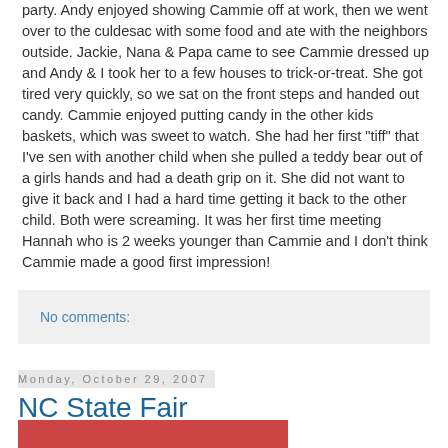party. Andy enjoyed showing Cammie off at work, then we went over to the culdesac with some food and ate with the neighbors outside. Jackie, Nana & Papa came to see Cammie dressed up and Andy & I took her to a few houses to trick-or-treat. She got tired very quickly, so we sat on the front steps and handed out candy. Cammie enjoyed putting candy in the other kids baskets, which was sweet to watch. She had her first "tiff" that I've sen with another child when she pulled a teddy bear out of a girls hands and had a death grip on it. She did not want to give it back and I had a hard time getting it back to the other child. Both were screaming. It was her first time meeting Hannah who is 2 weeks younger than Cammie and I don't think Cammie made a good first impression!
No comments:
Monday, October 29, 2007
NC State Fair
[Figure (photo): Photo strip at bottom of page]